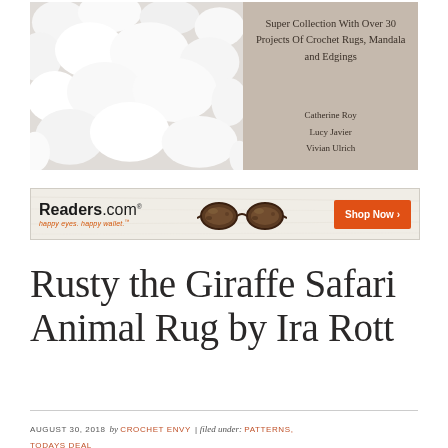[Figure (illustration): Book advertisement showing a fluffy white rug on the left side and a tan/beige background on the right with text: 'Super Collection With Over 30 Projects Of Crochet Rugs, Mandala and Edgings' and authors Catherine Roy, Lucy Javier, Vivian Ulrich]
[Figure (illustration): Readers.com advertisement banner with logo, glasses image, tagline 'happy eyes. happy wallet.' and orange 'Shop Now >' button]
Rusty the Giraffe Safari Animal Rug by Ira Rott
AUGUST 30, 2018 by CROCHET ENVY | filed under: PATTERNS, TODAYS DEAL